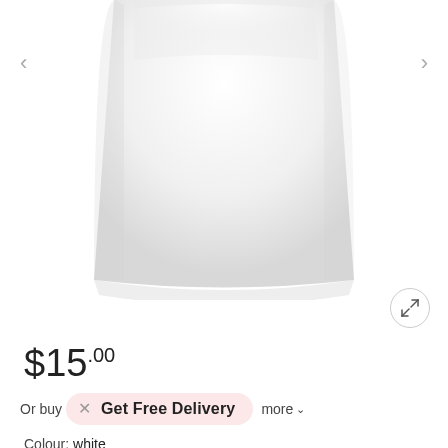[Figure (photo): White bandeau/tube top garment on a white background, showing just the torso/clothing area cropped at the top]
$15.00
Or buy  ×  Get Free Delivery  more ∨
Colour: white